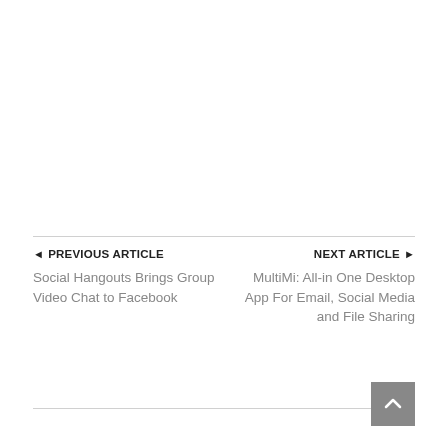◄ PREVIOUS ARTICLE
Social Hangouts Brings Group Video Chat to Facebook
NEXT ARTICLE ►
MultiMi: All-in One Desktop App For Email, Social Media and File Sharing
[Figure (other): Back to top button — grey square with upward arrow chevron]